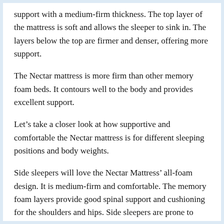support with a medium-firm thickness. The top layer of the mattress is soft and allows the sleeper to sink in. The layers below the top are firmer and denser, offering more support.
The Nectar mattress is more firm than other memory foam beds. It contours well to the body and provides excellent support.
Let’s take a closer look at how supportive and comfortable the Nectar mattress is for different sleeping positions and body weights.
Side sleepers will love the Nectar Mattress’ all-foam design. It is medium-firm and comfortable. The memory foam layers provide good spinal support and cushioning for the shoulders and hips. Side sleepers are prone to uneven spine alignment while sleeping on their sides, so the mattress helps by relieving pressure along the spine.